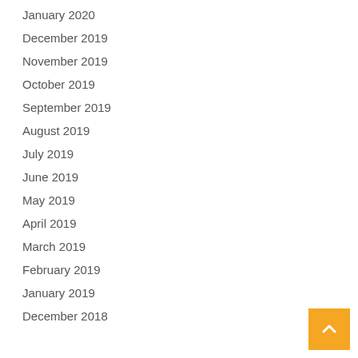January 2020
December 2019
November 2019
October 2019
September 2019
August 2019
July 2019
June 2019
May 2019
April 2019
March 2019
February 2019
January 2019
December 2018